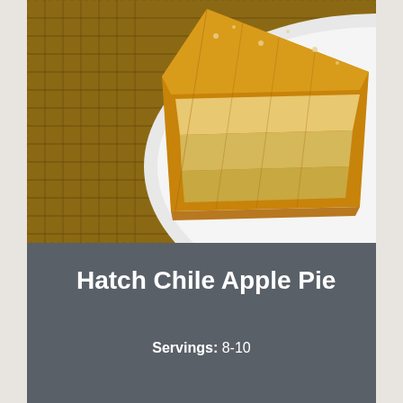[Figure (photo): Close-up photo of a slice of Hatch Chile Apple Pie on a white plate, with a woven placemat visible underneath. The pie has a golden-brown crust with visible filling.]
Hatch Chile Apple Pie
Servings: 8-10
Ingredients
For the Crust